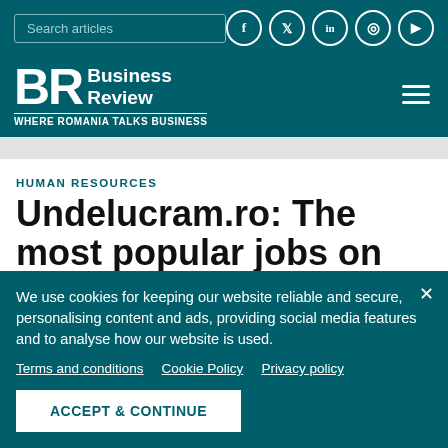Search articles | Business Review — WHERE ROMANIA TALKS BUSINESS
HUMAN RESOURCES
Undelucram.ro: The most popular jobs on our
We use cookies for keeping our website reliable and secure, personalising content and ads, providing social media features and to analyse how our website is used.
Terms and conditions | Cookie Policy | Privacy policy
ACCEPT & CONTINUE